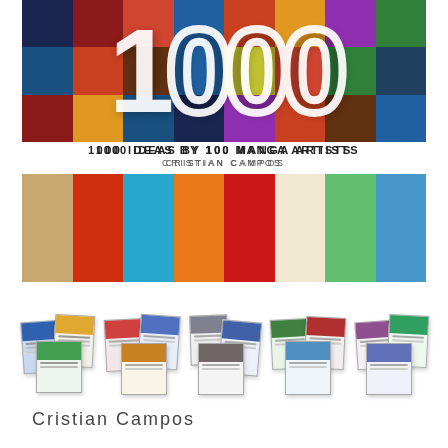[Figure (illustration): Book cover showing '1000' in large white text overlaid on a colorful mosaic of manga artwork images. Text reads '1000 IDEAS BY 100 MANGA ARTISTS' and 'CRISTIAN CAMPOS'. Below is a wide strip of manga-related photographs. Below that are small thumbnails of interior book pages.]
1000 IDEAS BY 100 MANGA ARTISTS
CRISTIAN CAMPOS
Cristian Campos